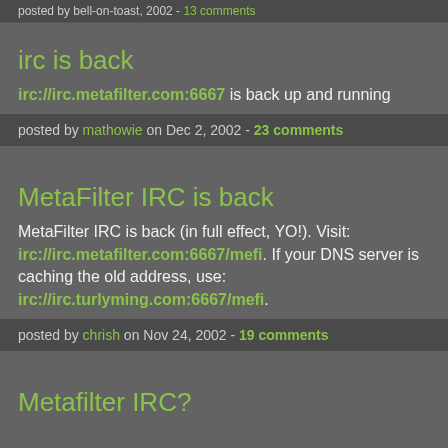posted by bell-on-toast, 2002 - 13 comments
irc is back
irc://irc.metafilter.com:6667 is back up and running
posted by mathowie on Dec 2, 2002 - 23 comments
MetaFilter IRC is back
MetaFilter IRC is back (in full effect, YO!). Visit: irc://irc.metafilter.com:6667/mefi. If your DNS server is caching the old address, use: irc://irc.turlyming.com:6667/mefi.
posted by chrish on Nov 24, 2002 - 19 comments
Metafilter IRC?